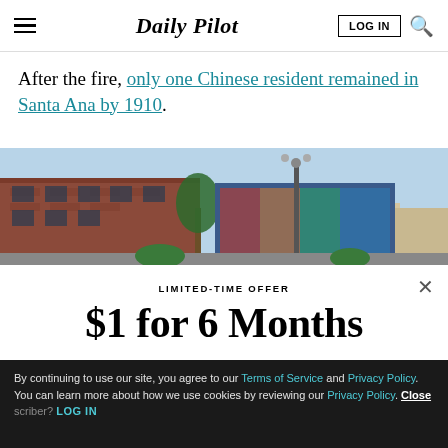Daily Pilot
After the fire, only one Chinese resident remained in Santa Ana by 1910.
[Figure (photo): Street-level photo of historic brick buildings with palm trees and a colorful mural in what appears to be downtown Santa Ana.]
LIMITED-TIME OFFER
$1 for 6 Months
SUBSCRIBE NOW
Already a subscriber? LOG IN
By continuing to use our site, you agree to our Terms of Service and Privacy Policy. You can learn more about how we use cookies by reviewing our Privacy Policy. Close